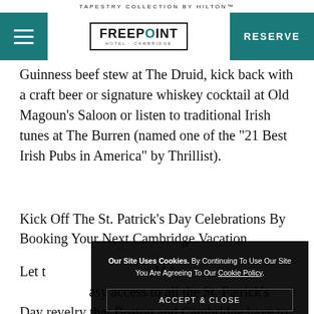TAPESTRY COLLECTION BY HILTON™
[Figure (logo): Freepoint Hotel Cambridge logo with Tapestry Collection navigation bar including hamburger menu and RESERVE button]
Guinness beef stew at The Druid, kick back with a craft beer or signature whiskey cocktail at Old Magoun's Saloon or listen to traditional Irish tunes at The Burren (named one of the "21 Best Irish Pubs in America" by Thrillist).
Kick Off The St. Patrick's Day Celebrations By Booking Your Next Cambridge Vacation
Let t... MA. ... easy access to all the St. Patrick's Day revelry that Boston and Cambridge have to offer. March is the perfect
Our Site Uses Cookies. By Continuing To Use Our Site You Are Agreeing To Our Cookie Policy.
ACCEPT & CLOSE